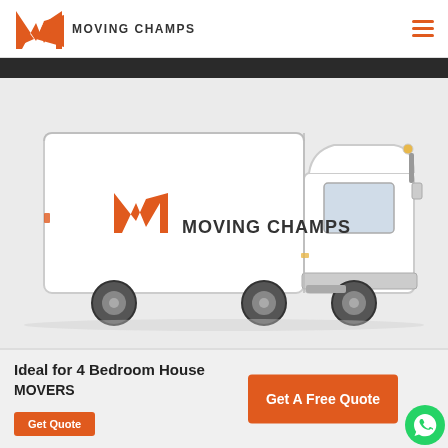[Figure (logo): Moving Champs logo with orange M chevron and company name text]
[Figure (photo): White Moving Champs branded box truck on grey background]
Ideal for 4 Bedroom House MOVERS
Get Quote
Get A Free Quote